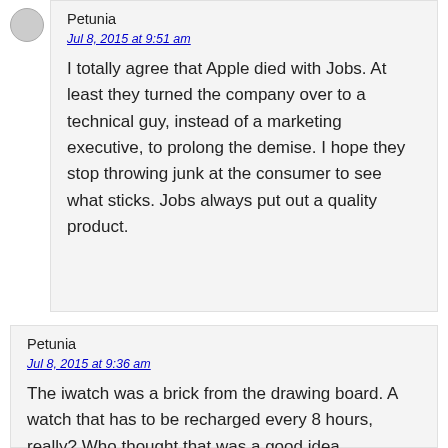Petunia
Jul 8, 2015 at 9:51 am
I totally agree that Apple died with Jobs. At least they turned the company over to a technical guy, instead of a marketing executive, to prolong the demise. I hope they stop throwing junk at the consumer to see what sticks. Jobs always put out a quality product.
Petunia
Jul 8, 2015 at 9:36 am
The iwatch was a brick from the drawing board. A watch that has to be recharged every 8 hours, really? Who thought that was a good idea.